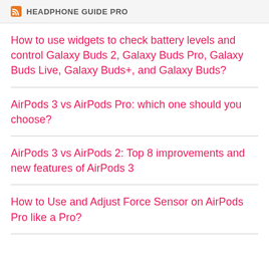HEADPHONE GUIDE PRO
How to use widgets to check battery levels and control Galaxy Buds 2, Galaxy Buds Pro, Galaxy Buds Live, Galaxy Buds+, and Galaxy Buds?
AirPods 3 vs AirPods Pro: which one should you choose?
AirPods 3 vs AirPods 2: Top 8 improvements and new features of AirPods 3
How to Use and Adjust Force Sensor on AirPods Pro like a Pro?